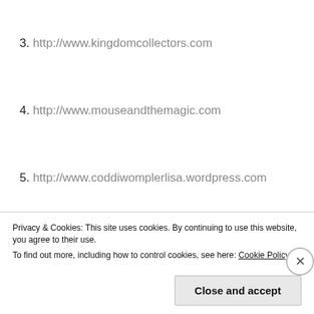3. http://www.kingdomcollectors.com
4. http://www.mouseandthemagic.com
5. http://www.coddiwomplerlisa.wordpress.com
6. http://www.dustlesspixie.com
7. http://www.disneyfamvacation.com
Privacy & Cookies: This site uses cookies. By continuing to use this website, you agree to their use. To find out more, including how to control cookies, see here: Cookie Policy
Close and accept